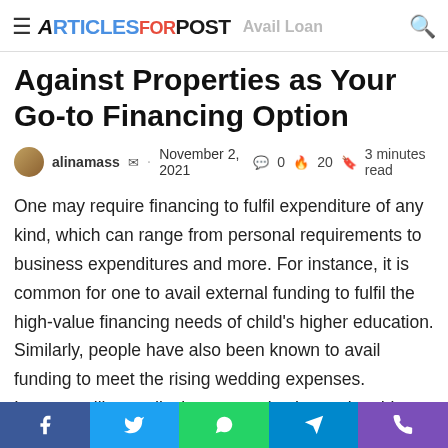ArticlesForPost · Avail Loan Against Properties as Your Go-to Financing Option
Against Properties as Your Go-to Financing Option
alinamass  ·  November 2, 2021  💬 0  🔥 20  📖 3 minutes read
One may require financing to fulfil expenditure of any kind, which can range from personal requirements to business expenditures and more. For instance, it is common for one to avail external funding to fulfil the high-value financing needs of child's higher education. Similarly, people have also been known to avail funding to meet the rising wedding expenses. Instances like medical emergencies have also driven people to avail funding of high quantum for easy and quick financing.
Social share bar: Facebook, Twitter, WhatsApp, Telegram, Phone